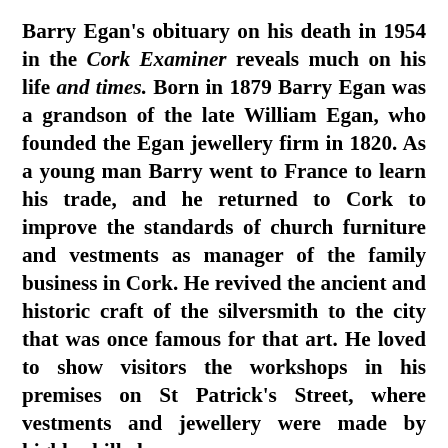Barry Egan's obituary on his death in 1954 in the Cork Examiner reveals much on his life and times. Born in 1879 Barry Egan was a grandson of the late William Egan, who founded the Egan jewellery firm in 1820. As a young man Barry went to France to learn his trade, and he returned to Cork to improve the standards of church furniture and vestments as manager of the family business in Cork. He revived the ancient and historic craft of the silversmith to the city that was once famous for that art. He loved to show visitors the workshops in his premises on St Patrick's Street, where vestments and jewellery were made by highly skilled